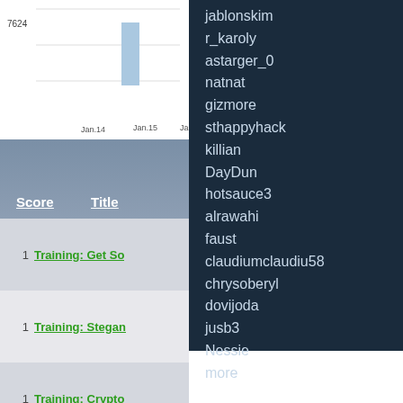[Figure (continuous-plot): Partial line/bar chart with y-axis value 7624 and x-axis labels Jan.14, Jan.15, Jan.16]
| Score | Title |
| --- | --- |
| 1 | Training: Get So… |
| 1 | Training: Stegan… |
| 1 | Training: Crypto… |
| 1 | Training: WWW… |
| 1 | Training: ASCII… |
jablonskim
r_karoly
astarger_0
natnat
gizmore
sthappyhack
killian
DayDun
hotsauce3
alrawahi
faust
claudiumclaudiu58
chrysoberyl
dovijoda
jusb3
Nessie
more